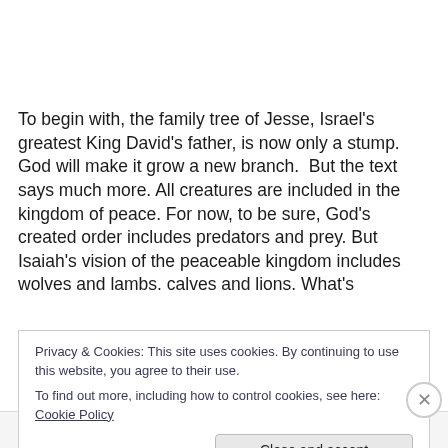To begin with, the family tree of Jesse, Israel's greatest King David's father, is now only a stump. God will make it grow a new branch.  But the text says much more. All creatures are included in the kingdom of peace. For now, to be sure, God's created order includes predators and prey. But Isaiah's vision of the peaceable kingdom includes wolves and lambs. calves and lions. What's
Privacy & Cookies: This site uses cookies. By continuing to use this website, you agree to their use.
To find out more, including how to control cookies, see here: Cookie Policy
Close and accept
Advertisements